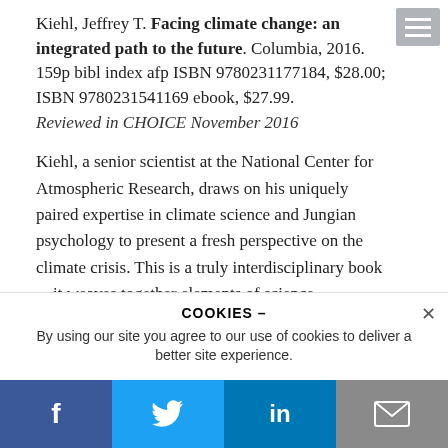Kiehl, Jeffrey T. Facing climate change: an integrated path to the future. Columbia, 2016. 159p bibl index afp ISBN 9780231177184, $28.00; ISBN 9780231541169 ebook, $27.99. Reviewed in CHOICE November 2016
Kiehl, a senior scientist at the National Center for Atmospheric Research, draws on his uniquely paired expertise in climate science and Jungian psychology to present a fresh perspective on the climate crisis. This is a truly interdisciplinary book—it weaves together elements of science, psychology
COOKIES – By using our site you agree to our use of cookies to deliver a better site experience.